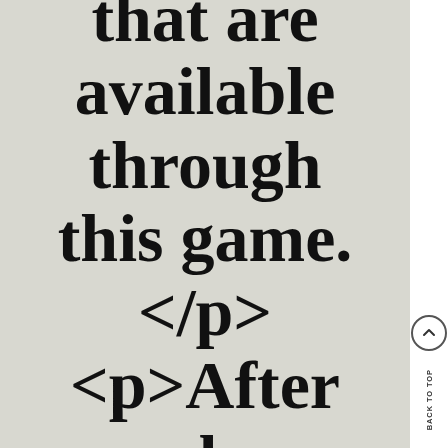that are available through this game. </p> <p>After you have determined
BACK TO TOP ↑